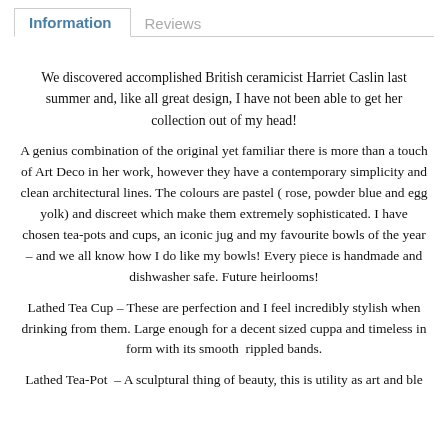Information | Reviews
We discovered accomplished British ceramicist Harriet Caslin last summer and, like all great design, I have not been able to get her collection out of my head!
A genius combination of the original yet familiar there is more than a touch of Art Deco in her work, however they have a contemporary simplicity and clean architectural lines. The colours are pastel ( rose, powder blue and egg yolk) and discreet which make them extremely sophisticated. I have chosen tea-pots and cups, an iconic jug and my favourite bowls of the year – and we all know how I do like my bowls! Every piece is handmade and dishwasher safe. Future heirlooms!
Lathed Tea Cup – These are perfection and I feel incredibly stylish when drinking from them. Large enough for a decent sized cuppa and timeless in form with its smooth  rippled bands.
Lathed Tea-Pot – A sculptural thing of beauty, this is utility as art and ble...